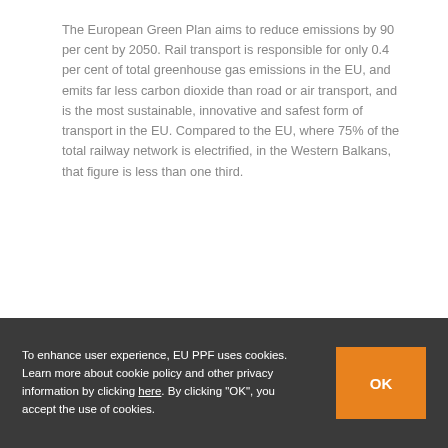The European Green Plan aims to reduce emissions by 90 per cent by 2050. Rail transport is responsible for only 0.4 per cent of total greenhouse gas emissions in the EU, and emits far less carbon dioxide than road or air transport, and is the most sustainable, innovative and safest form of transport in the EU. Compared to the EU, where 75% of the total railway network is electrified, in the Western Balkans, that figure is less than one third.
Source: Europa.rs
September 13th, 2021 | News
Share this article to social networks!
To enhance user experience, EU PPF uses cookies. Learn more about cookie policy and other privacy information by clicking here. By clicking "OK", you accept the use of cookies.